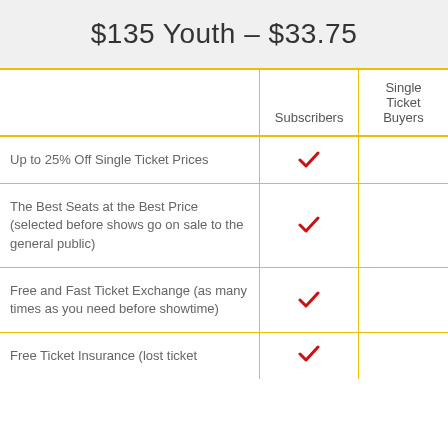$135 Youth – $33.75
|  | Subscribers | Single Ticket Buyers |
| --- | --- | --- |
| Up to 25% Off Single Ticket Prices | ✓ |  |
| The Best Seats at the Best Price (selected before shows go on sale to the general public) | ✓ |  |
| Free and Fast Ticket Exchange (as many times as you need before showtime) | ✓ |  |
| Free Ticket Insurance (lost ticket | ✓ |  |